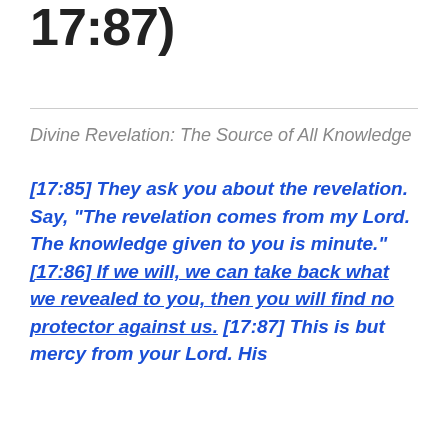17:87)
Divine Revelation: The Source of All Knowledge
[17:85] They ask you about the revelation. Say, “The revelation comes from my Lord. The knowledge given to you is minute.” [17:86] If we will, we can take back what we revealed to you, then you will find no protector against us. [17:87] This is but mercy from your Lord. His